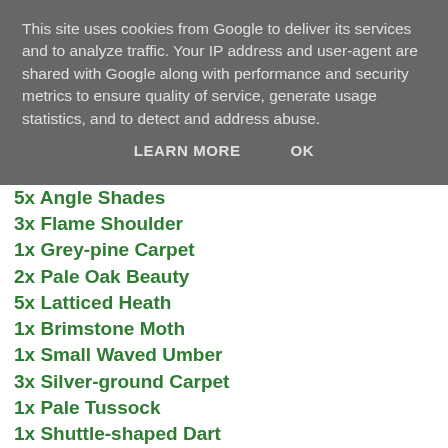This site uses cookies from Google to deliver its services and to analyze traffic. Your IP address and user-agent are shared with Google along with performance and security metrics to ensure quality of service, generate usage statistics, and to detect and address abuse.
LEARN MORE   OK
5x Angle Shades
3x Flame Shoulder
1x Grey-pine Carpet
2x Pale Oak Beauty
5x Latticed Heath
1x Brimstone Moth
1x Small Waved Umber
3x Silver-ground Carpet
1x Pale Tussock
1x Shuttle-shaped Dart
Micro Moths
1x Coleophora deauratella [NEW!]
1x ... [NEW!]